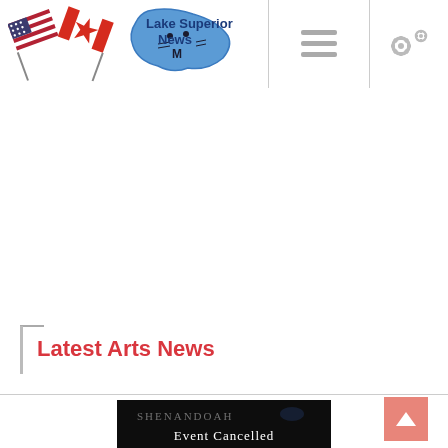[Figure (logo): Lake Superior News logo with crossed US and Canadian flags and a blue map silhouette of Lake Superior region]
[Figure (other): Hamburger menu icon (three horizontal lines)]
[Figure (other): Settings/gear icon]
Latest Arts News
[Figure (photo): Dark promotional image showing 'Shenandoah' text and 'Event Cancelled' text on a dark background]